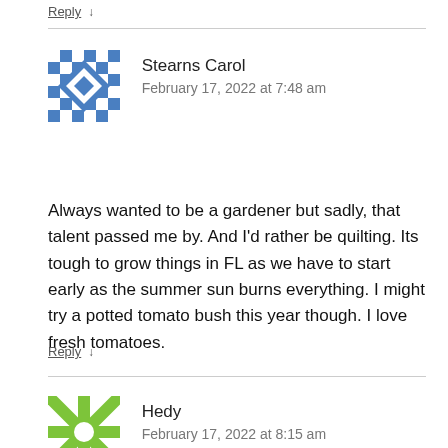Reply ↓
Stearns Carol
February 17, 2022 at 7:48 am
Always wanted to be a gardener but sadly, that talent passed me by. And I'd rather be quilting. Its tough to grow things in FL as we have to start early as the summer sun burns everything. I might try a potted tomato bush this year though. I love fresh tomatoes.
Reply ↓
Hedy
February 17, 2022 at 8:15 am